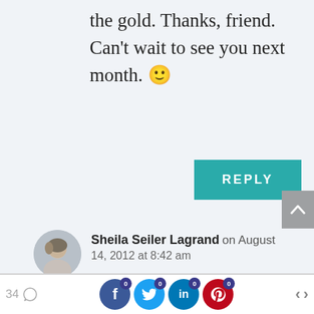the gold. Thanks, friend. Can't wait to see you next month. 🙂
REPLY
Sheila Seiler Lagrand on August 14, 2012 at 8:42 am
I can't wait either! (I can't wait, too?)
REPLY
34  f 0  t 0  in 0  p 0  < >